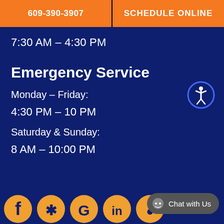609-390-3907 | SCHEDULE ONLINE
7:30 AM – 4:30 PM
Emergency Service
Monday – Friday:
4:30 PM – 10 PM
Saturday & Sunday:
8 AM – 10:00 PM
[Figure (infographic): Social media icons row: Facebook, Yelp, Google, LinkedIn, and another icon, all in orange/gold circles]
Chat with Us